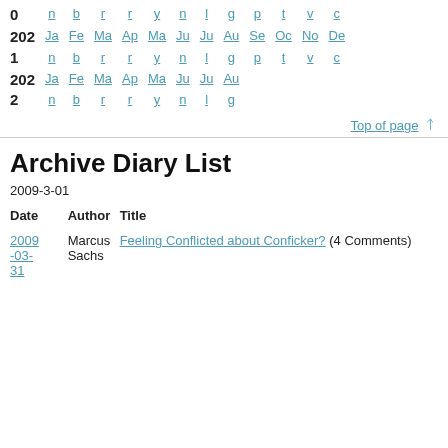| Year | Jan | Feb | Mar | Apr | May | Jun | Jul | Aug | Sep | Oct | Nov | Dec |
| --- | --- | --- | --- | --- | --- | --- | --- | --- | --- | --- | --- | --- |
| 0 | n | b | r | r | y | n | l | g | p | t | v | c |
| 202 1 | Ja n | Fe b | Ma r | Ap r | Ma y | Ju n | Ju l | Au g | Se p | Oc t | No v | De c |
| 202 2 | Ja n | Fe b | Ma r | Ap r | Ma y | Ju n | Ju l | Au g |  |  |  |  |
Top of page ↑
Archive Diary List
2009-3-01
| Date | Author | Title |
| --- | --- | --- |
| 2009-03-31 | Marcus Sachs | Feeling Conflicted about Conficker? (4 Comments) |